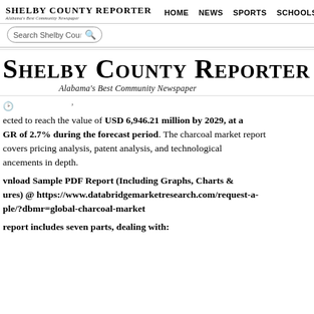SHELBY COUNTY REPORTER | Alabama's Best Community Newspaper | HOME | NEWS | SPORTS | SCHOOLS | OP...
[Figure (screenshot): Search bar with placeholder text 'Search Shelby Coun' and a magnifying glass icon]
SHELBY COUNTY REPORTER
Alabama's Best Community Newspaper
ected to reach the value of USD 6,946.21 million by 2029, at a GR of 2.7% during the forecast period. The charcoal market report covers pricing analysis, patent analysis, and technological ancements in depth.
vnload Sample PDF Report (Including Graphs, Charts & ures) @ https://www.databridgemarketresearch.com/request-a-ple/?dbmr=global-charcoal-market
report includes seven parts, dealing with: